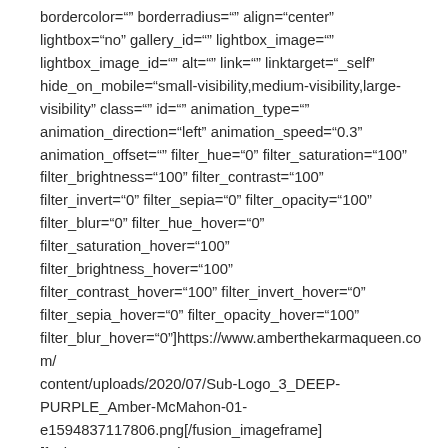bordercolor="" borderradius="" align="center" lightbox="no" gallery_id="" lightbox_image="" lightbox_image_id="" alt="" link="" linktarget="_self" hide_on_mobile="small-visibility,medium-visibility,large-visibility" class="" id="" animation_type="" animation_direction="left" animation_speed="0.3" animation_offset="" filter_hue="0" filter_saturation="100" filter_brightness="100" filter_contrast="100" filter_invert="0" filter_sepia="0" filter_opacity="100" filter_blur="0" filter_hue_hover="0" filter_saturation_hover="100" filter_brightness_hover="100" filter_contrast_hover="100" filter_invert_hover="0" filter_sepia_hover="0" filter_opacity_hover="100" filter_blur_hover="0"]https://www.amberthekarmaqueen.com/content/uploads/2020/07/Sub-Logo_3_DEEP-PURPLE_Amber-McMahon-01-e1594837117806.png[/fusion_imageframe] [fusion_separator style_type="none"